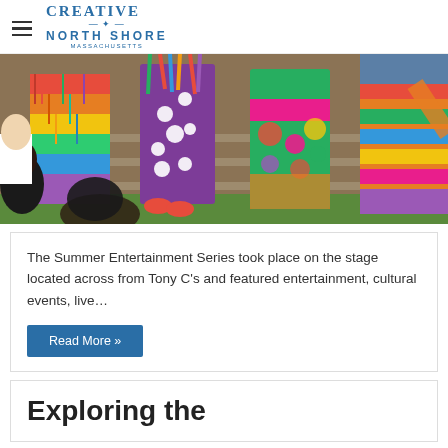Creative North Shore Massachusetts
[Figure (photo): Colorful costumed performers in vibrant traditional outfits standing on a stage with steps in the background]
The Summer Entertainment Series took place on the stage located across from Tony C's and featured entertainment, cultural events, live…
Read More »
Exploring the